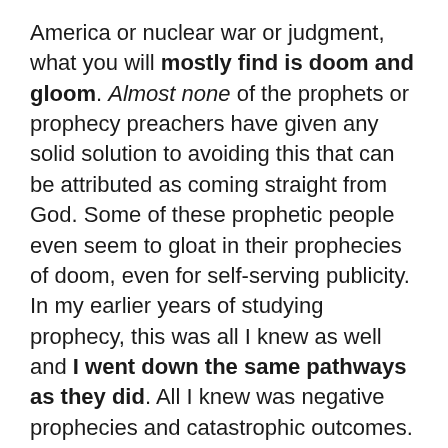America or nuclear war or judgment, what you will mostly find is doom and gloom. Almost none of the prophets or prophecy preachers have given any solid solution to avoiding this that can be attributed as coming straight from God. Some of these prophetic people even seem to gloat in their prophecies of doom, even for self-serving publicity. In my earlier years of studying prophecy, this was all I knew as well and I went down the same pathways as they did. All I knew was negative prophecies and catastrophic outcomes.
But there is one man who did receive the answer and strategy to stopping this nuclear war…